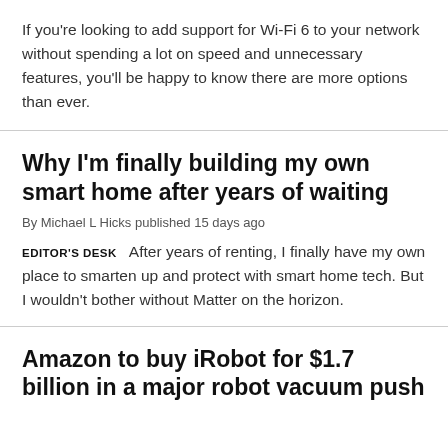If you're looking to add support for Wi-Fi 6 to your network without spending a lot on speed and unnecessary features, you'll be happy to know there are more options than ever.
Why I'm finally building my own smart home after years of waiting
By Michael L Hicks published 15 days ago
EDITOR'S DESK   After years of renting, I finally have my own place to smarten up and protect with smart home tech. But I wouldn't bother without Matter on the horizon.
Amazon to buy iRobot for $1.7 billion in a major robot vacuum push